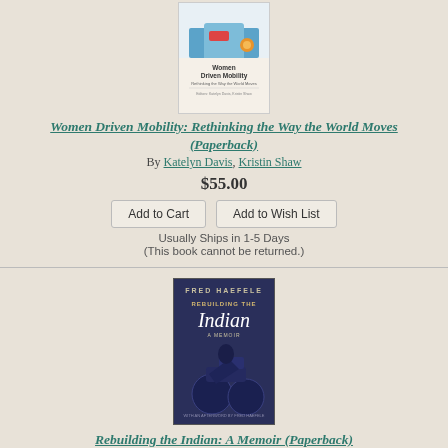[Figure (illustration): Book cover for 'Women Driven Mobility: Rethinking the Way the World Moves' showing colorful transportation imagery]
Women Driven Mobility: Rethinking the Way the World Moves (Paperback)
By Katelyn Davis, Kristin Shaw
$55.00
Add to Cart | Add to Wish List
Usually Ships in 1-5 Days
(This book cannot be returned.)
[Figure (illustration): Book cover for 'Rebuilding the Indian: A Memoir' by Fred Haefele, showing a dark blue motorcycle illustration]
Rebuilding the Indian: A Memoir (Paperback)
By Fred Haefele, Fred Haefele (Afterword by)
$19.95